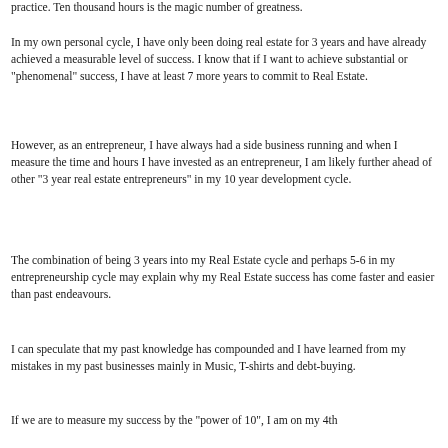practice. Ten thousand hours is the magic number of greatness.
In my own personal cycle, I have only been doing real estate for 3 years and have already achieved a measurable level of success. I know that if I want to achieve substantial or "phenomenal" success, I have at least 7 more years to commit to Real Estate.
However, as an entrepreneur, I have always had a side business running and when I measure the time and hours I have invested as an entrepreneur, I am likely further ahead of other "3 year real estate entrepreneurs" in my 10 year development cycle.
The combination of being 3 years into my Real Estate cycle and perhaps 5-6 in my entrepreneurship cycle may explain why my Real Estate success has come faster and easier than past endeavours.
I can speculate that my past knowledge has compounded and I have learned from my mistakes in my past businesses mainly in Music, T-shirts and debt-buying.
If we are to measure my success by the "power of 10", I am on my 4th